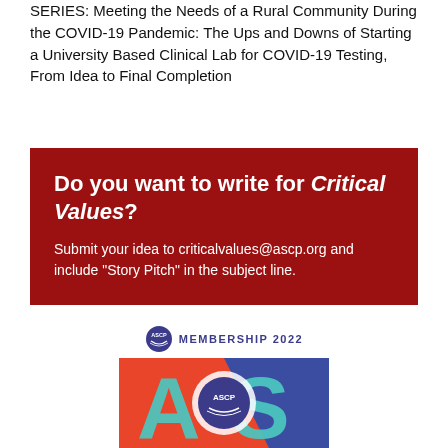SERIES: Meeting the Needs of a Rural Community During the COVID-19 Pandemic: The Ups and Downs of Starting a University Based Clinical Lab for COVID-19 Testing, From Idea to Final Completion
[Figure (infographic): Dark red promotional box reading: Do you want to write for Critical Values? Submit your idea to criticalvalues@ascp.org and include "Story Pitch" in the subject line.]
[Figure (logo): ASCP Membership 2022 banner showing ASCP circular logo and the letters A and S in teal and blue on an orange-red background.]